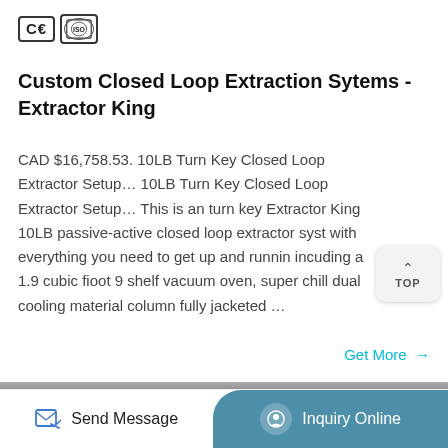[Figure (logo): CE and ISO certification logos]
Custom Closed Loop Extraction Sytems - Extractor King
CAD $16,758.53. 10LB Turn Key Closed Loop Extractor Setup... 10LB Turn Key Closed Loop Extractor Setup... This is an turn key Extractor King 10LB passive-active closed loop extractor syst with everything you need to get up and runnin incuding a 1.9 cubic fioot 9 shelf vacuum oven, super chill dual cooling material column fully jacketed ...
[Figure (photo): Partial product image at the bottom of the page]
Send Message   Inquiry Online